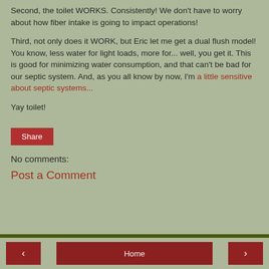Second, the toilet WORKS. Consistently! We don't have to worry about how fiber intake is going to impact operations!
Third, not only does it WORK, but Eric let me get a dual flush model! You know, less water for light loads, more for... well, you get it. This is good for minimizing water consumption, and that can't be bad for our septic system. And, as you all know by now, I'm a little sensitive about septic systems...
Yay toilet!
Share
No comments:
Post a Comment
< Home >